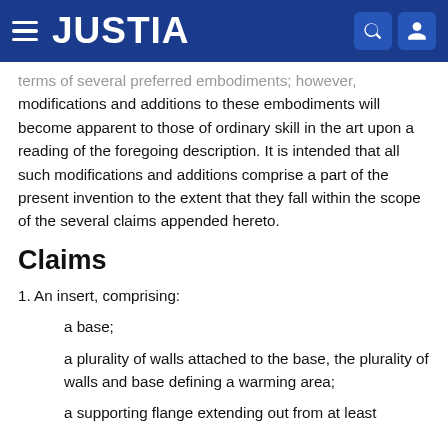JUSTIA
terms of several preferred embodiments; however, modifications and additions to these embodiments will become apparent to those of ordinary skill in the art upon a reading of the foregoing description. It is intended that all such modifications and additions comprise a part of the present invention to the extent that they fall within the scope of the several claims appended hereto.
Claims
1. An insert, comprising:
a base;
a plurality of walls attached to the base, the plurality of walls and base defining a warming area;
a supporting flange extending out from at least